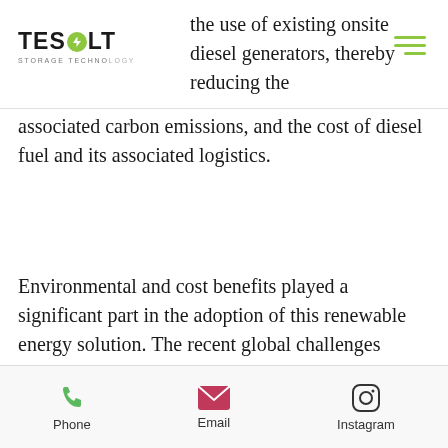TESVOLT STORAGE TECHNOLOGY
the use of existing onsite diesel generators, thereby reducing the associated carbon emissions, and the cost of diesel fuel and its associated logistics.
Environmental and cost benefits played a significant part in the adoption of this renewable energy solution. The recent global challenges caused by the COVID-19 crisis further highlights the importance of energy independence. The risk to economies and businesses globally when logistics and supply chains are disrupted have become increasingly prominent. Reducing the
Phone  Email  Instagram